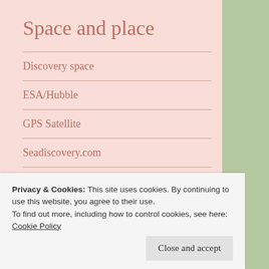Space and place
Discovery space
ESA/Hubble
GPS Satellite
Seadiscovery.com
SETI Institute
Smithsonian
Privacy & Cookies: This site uses cookies. By continuing to use this website, you agree to their use.
To find out more, including how to control cookies, see here: Cookie Policy
Close and accept